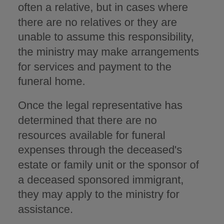often a relative, but in cases where there are no relatives or they are unable to assume this responsibility, the ministry may make arrangements for services and payment to the funeral home.
Once the legal representative has determined that there are no resources available for funeral expenses through the deceased's estate or family unit or the sponsor of a deceased sponsored immigrant, they may apply to the ministry for assistance.
http://www.gov.bc.ca/hsd/
For More Information
Contact the Ministry of Social Development by calling toll-free: